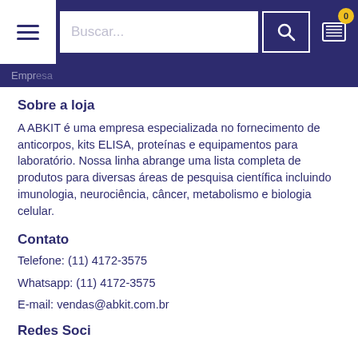Buscar...
Sobre a loja
A ABKIT é uma empresa especializada no fornecimento de anticorpos, kits ELISA, proteínas e equipamentos para laboratório. Nossa linha abrange uma lista completa de produtos para diversas áreas de pesquisa científica incluindo imunologia, neurociência, câncer, metabolismo e biologia celular.
Contato
Telefone: (11) 4172-3575
Whatsapp: (11) 4172-3575
E-mail: vendas@abkit.com.br
Redes Sociais